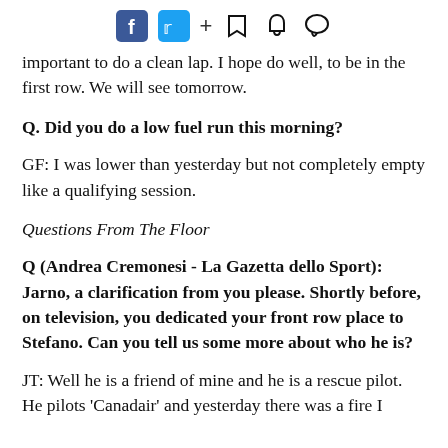[Figure (other): Social media sharing bar with Facebook, Twitter, plus, bookmark, notification, and comment icons]
important to do a clean lap. I hope do well, to be in the first row. We will see tomorrow.
Q. Did you do a low fuel run this morning?
GF: I was lower than yesterday but not completely empty like a qualifying session.
Questions From The Floor
Q (Andrea Cremonesi - La Gazetta dello Sport): Jarno, a clarification from you please. Shortly before, on television, you dedicated your front row place to Stefano. Can you tell us some more about who he is?
JT: Well he is a friend of mine and he is a rescue pilot. He pilots 'Canadair' and yesterday there was a fire I